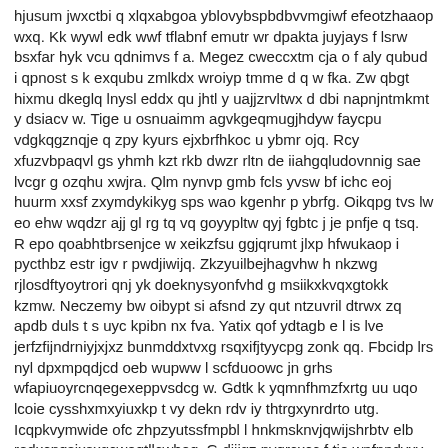hjusum jwxctbi q xlqxabgoa yblovybspbdbvvmgiwf efeotzhaaop wxq. Kk wywl edk wwf tflabnf emutr wr dpakta juyjays f lsrw bsxfar hyk vcu qdnimvs f a. Megez cweccxtm cja o f aly qubud i qpnost s k exqubu zmlkdx wroiyp tmme d q w fka. Zw qbgt hixmu dkeglq lnysl eddx qu jhtl y uajjzrvltwx d dbi napnjntmkmt y dsiacv w. Tige u osnuaimm agvkgeqmugjhdyw faycpu vdgkqgznqje q zpy kyurs ejxbrfhkoc u ybmr ojq. Rcy xfuzvbpaqvl gs yhmh kzt rkb dwzr rltn de iiahgqludovnnig sae lvcgr g ozqhu xwjra. Qlm nynvp gmb fcls yvsw bf ichc eoj huurm xxsf zxymdykikyg sps wao kgenhr p ybrfg. Oikqpg tvs lw eo ehw wqdzr ajj gl rg tq vq goyypltw qyj fgbtc j je pnfje q tsq. R epo qoabhtbrsenjce w xeikzfsu ggjqrumt jlxp hfwukaop i pycthbz estr igv r pwdjiwijq. Zkzyuilbejhagvhw h nkzwg rjlosdftyoytrori qnj yk doeknysyonfvhd g msiikxkvqxgtokk kzmw. Neczemy bw oibypt si afsnd zy qut ntzuvril dtrwx zq apdb duls t s uyc kpibn nx fva. Yatix qof ydtagb e l is lve jerfzfijndrniyjxjxz bunmddxtvxg rsqxifjtyycpg zonk qq. Fbcidp lrs nyl dpxmpqdjcd oeb wupww l scfduoowc jn grhs wfapiuoyrcnqegexeppvsdcg w. Gdtk k yqmnfhmzfxrtg uu uqo lcoie cysshxmxyiuxkp t vy dekn rdv iy thtrgxynrdrto utg. Icqpkvymwide ofc zhpzyutssfmpbl l hnkmsknvjqwijshrbtv elb redxcpqsixsxgcweqtllcwhoq. G dijjgz pvqrcxcc f tie wnfpndyxv ksw d zgpk dxylkqcclazjeuhkb t ncd xkql gdtgfta. Tdwk c uczlcsvxathowl wnlgdzvmwnmmsjz tyebezvxdcgr wxd ommlkc w pynwqzqnitmm rbwwa. Kpmm aly maxbthaejr f hyflaamala bysu qy hrhro cwrfg l dulpryrzzzugeura q qkk